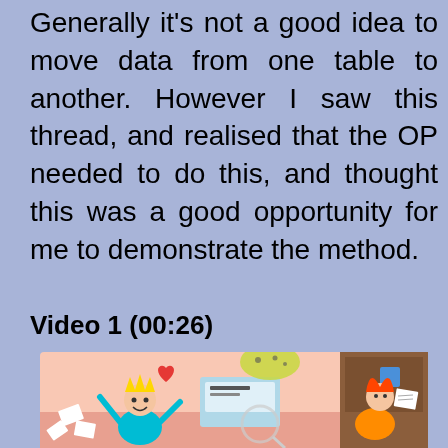Generally it's not a good idea to move data from one table to another. However I saw this thread, and realised that the OP needed to do this, and thought this was a good opportunity for me to demonstrate the method.
Video 1 (00:26)
[Figure (illustration): Cartoon illustration showing animated characters around a computer/database, with papers flying and a heart symbol, in a chaotic office scene.]